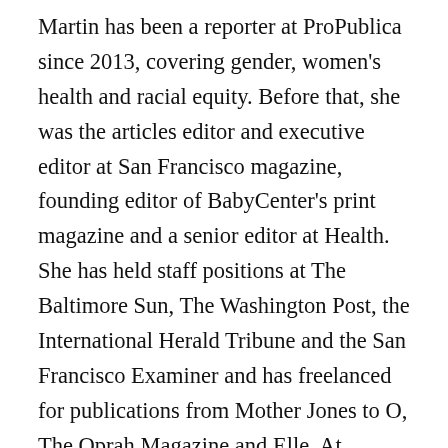Martin has been a reporter at ProPublica since 2013, covering gender, women's health and racial equity. Before that, she was the articles editor and executive editor at San Francisco magazine, founding editor of BabyCenter's print magazine and a senior editor at Health. She has held staff positions at The Baltimore Sun, The Washington Post, the International Herald Tribune and the San Francisco Examiner and has freelanced for publications from Mother Jones to O, The Oprah Magazine and Elle. At ProPublica, her focus has included the criminalization of drug use in pregnancy, the role of religion in health care, and racial and gender disparities in COVID-19 deaths. Her Lost Mothers project, a partnership with NPR, examined maternal mortality in the United States